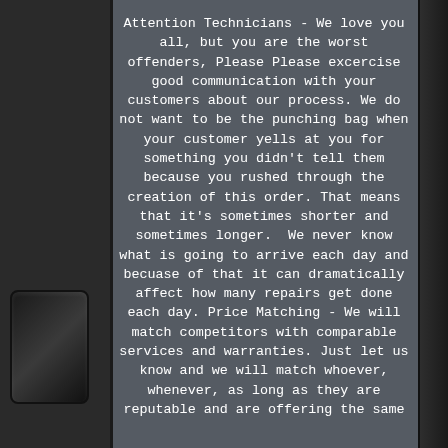Attention Technicians - We love you all, but you are the worst offenders, Please Please excercise good communication with your customers about our process. We do not want to be the punching bag when your customer yells at you for something you didn't tell them because you rushed through the creation of this order. That means that it's sometimes shorter and sometimes longer.

We never know what is going to arrive each day and becuase of that it can dramatically affect how many repairs get done each day. Price Matching - We will match competitors with comparable services and warranties. Just let us know and we will match whoever, whenever, as long as they are reputable and are offering the same